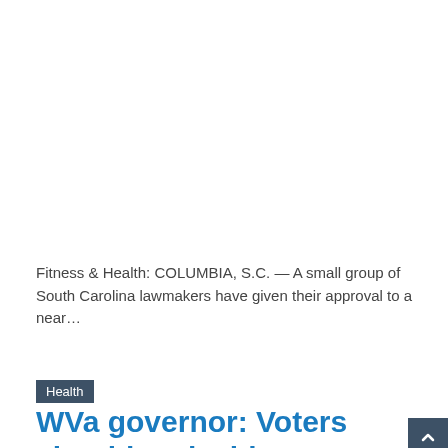Fitness & Health: COLUMBIA, S.C. — A small group of South Carolina lawmakers have given their approval to a near…
Read More »
Health
WVa governor: Voters shouldn't decide abortion access issue